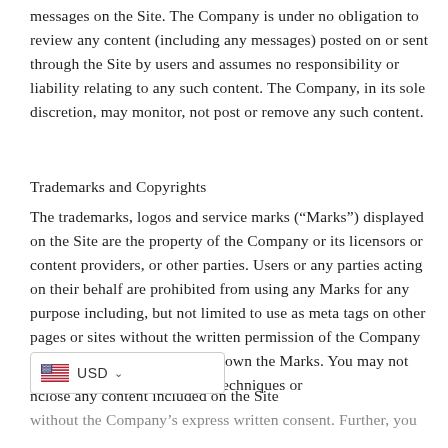messages on the Site. The Company is under no obligation to review any content (including any messages) posted on or sent through the Site by users and assumes no responsibility or liability relating to any such content. The Company, in its sole discretion, may monitor, not post or remove any such content.
Trademarks and Copyrights
The trademarks, logos and service marks (“Marks”) displayed on the Site are the property of the Company or its licensors or content providers, or other parties. Users or any parties acting on their behalf are prohibited from using any Marks for any purpose including, but not limited to use as meta tags on other pages or sites without the written permission of the Company or such third party which may own the Marks. You may not use frames or utilize framing techniques or enclose any content included on the Site without the Company’s express written consent. Further, you